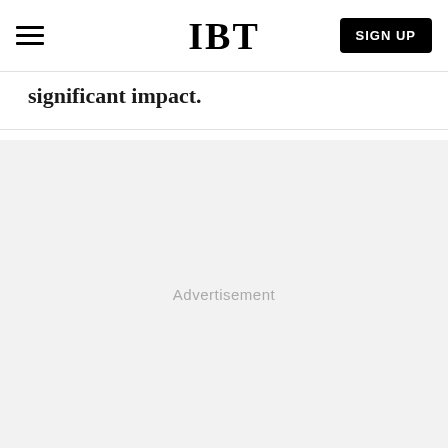IBT | SIGN UP
significant impact.
Advertisement